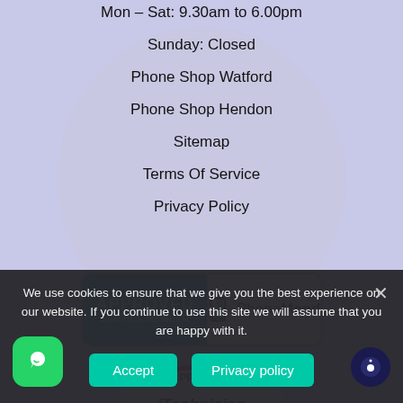Mon – Sat: 9.30am to 6.00pm
Sunday: Closed
Phone Shop Watford
Phone Shop Hendon
Sitemap
Terms Of Service
Privacy Policy
[Figure (logo): PhoneMend Approved Service Member badge - teal left panel with APPROVED SERVICE MEMBER text, right panel with phone icon and PhoneMend brand name]
[Figure (logo): Approved iTechnician oval badge with pink arc and italic text]
We use cookies to ensure that we give you the best experience on our website. If you continue to use this site we will assume that you are happy with it.
Accept
Privacy policy